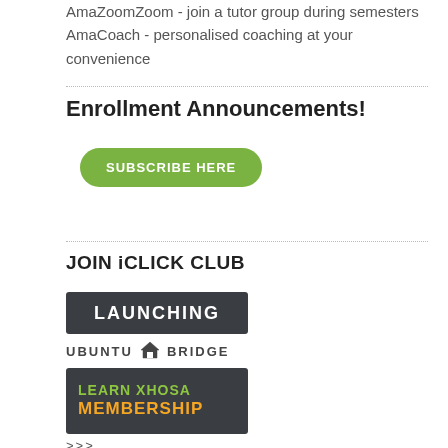AmaZoomZoom - join a tutor group during semesters
AmaCoach - personalised coaching at your convenience
Enrollment Announcements!
[Figure (other): Green rounded button with text SUBSCRIBE HERE]
JOIN iCLICK CLUB
[Figure (other): Dark banner with LAUNCHING text in white capitals]
[Figure (logo): Ubuntu Bridge logo with house icon]
[Figure (other): Dark banner with LEARN XHOSA in green and MEMBERSHIP in orange]
>>>